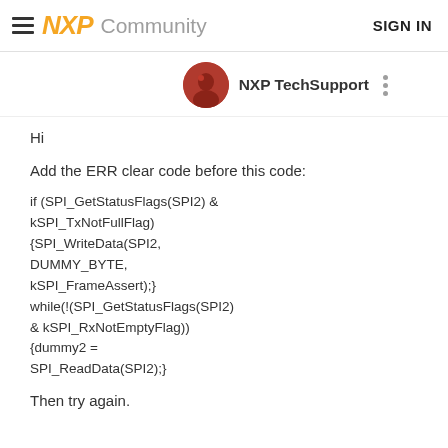NXP Community  SIGN IN
NXP TechSupport
Hi
Add the ERR clear code before this code:
if (SPI_GetStatusFlags(SPI2) & kSPI_TxNotFullFlag) {SPI_WriteData(SPI2, DUMMY_BYTE, kSPI_FrameAssert);} while(!(SPI_GetStatusFlags(SPI2) & kSPI_RxNotEmptyFlag)) {dummy2 = SPI_ReadData(SPI2);}
Then try again.